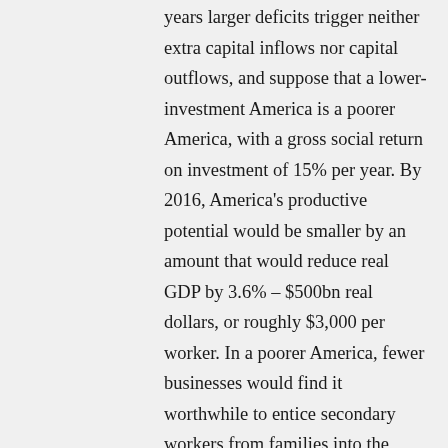years larger deficits trigger neither extra capital inflows nor capital outflows, and suppose that a lower-investment America is a poorer America, with a gross social return on investment of 15% per year. By 2016, America's productive potential would be smaller by an amount that would reduce real GDP by 3.6% – $500bn real dollars, or roughly $3,000 per worker. In a poorer America, fewer businesses would find it worthwhile to entice secondary workers from families into the labor force, and perhaps 500,000 net jobs would disappear. In getting from here to there over the next eight years, a